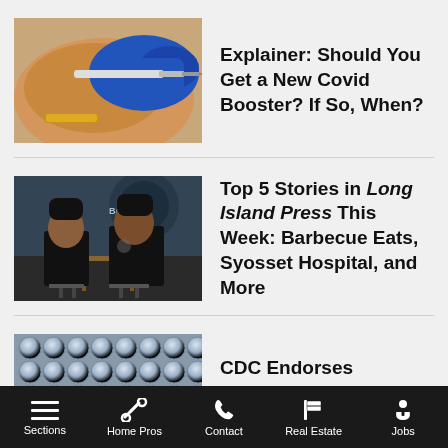[Figure (photo): Close-up of a blue-gloved hand administering a vaccine injection into a person's arm/shoulder]
Explainer: Should You Get a New Covid Booster? If So, When?
[Figure (photo): Two men in black shirts sitting at a table inside a barbecue restaurant with murals on the wall]
Top 5 Stories in Long Island Press This Week: Barbecue Eats, Syosset Hospital, and More
[Figure (photo): Close-up of rows of small circular vaccine vials/bottles]
CDC Endorses Updated Covid-19 Boosters, Shots
Sections  Home Pros  Contact  Real Estate  Jobs